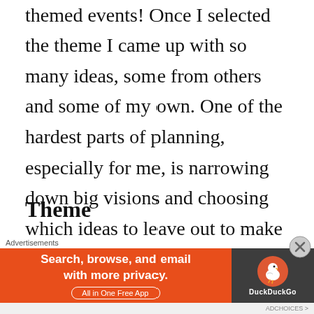themed events! Once I selected the theme I came up with so many ideas, some from others and some of my own. One of the hardest parts of planning, especially for me, is narrowing down big visions and choosing which ideas to leave out to make room for what will work best. Here's what worked for us:
Theme
As I started thinking about Riley's then...
[Figure (other): DuckDuckGo advertisement banner: orange left panel with text 'Search, browse, and email with more privacy. All in One Free App', dark right panel with DuckDuckGo logo. Has close button (X circle). Labeled 'Advertisements' at top.]